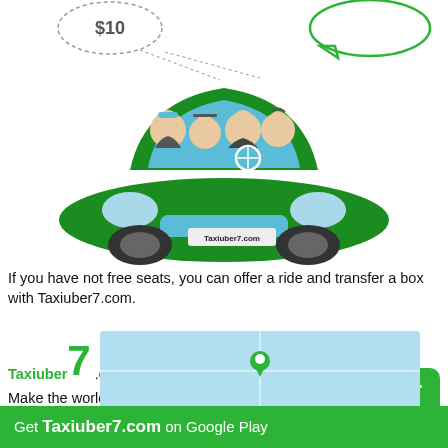[Figure (illustration): Green car with four passengers (driver and three riders) viewed from the front. A dashed speech bubble on the upper left shows '$10'. A green speech bubble on the upper right is partially visible. The license plate area reads 'Taxiuber7.com'.]
If you have not free seats, you can offer a ride and transfer a box with Taxiuber7.com.
Taxiuber7 .com - We work 7 days a week
Make the world green!!! Save the world. Let's reduce CO
[Figure (illustration): Blue map area at bottom center with a location pin icon visible]
Get Taxiuber7.com on Google Play